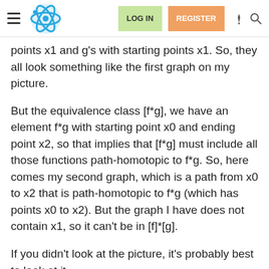LOG IN | REGISTER
points x1 and g's with starting points x1. So, they all look something like the first graph on my picture.
But the equivalence class [f*g], we have an element f*g with starting point x0 and ending point x2, so that implies that [f*g] must include all those functions path-homotopic to f*g. So, here comes my second graph, which is a path from x0 to x2 that is path-homotopic to f*g (which has points x0 to x2). But the graph I have does not contain x1, so it can't be in [f]*[g].
If you didn't look at the picture, it's probably best to look at it.
Thanks for your help though. I really need to